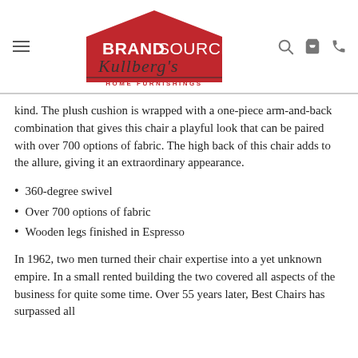BrandSource Kullberg's Home Furnishings — navigation header
kind. The plush cushion is wrapped with a one-piece arm-and-back combination that gives this chair a playful look that can be paired with over 700 options of fabric. The high back of this chair adds to the allure, giving it an extraordinary appearance.
360-degree swivel
Over 700 options of fabric
Wooden legs finished in Espresso
In 1962, two men turned their chair expertise into a yet unknown empire. In a small rented building the two covered all aspects of the business for quite some time. Over 55 years later, Best Chairs has surpassed all